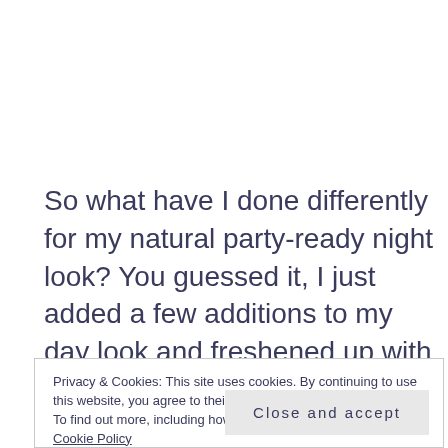So what have I done differently for my natural party-ready night look? You guessed it, I just added a few additions to my day look and freshened up with what I
Privacy & Cookies: This site uses cookies. By continuing to use this website, you agree to their use.
To find out more, including how to control cookies, see here:
Cookie Policy
look, just get clever with layering it so it stands out